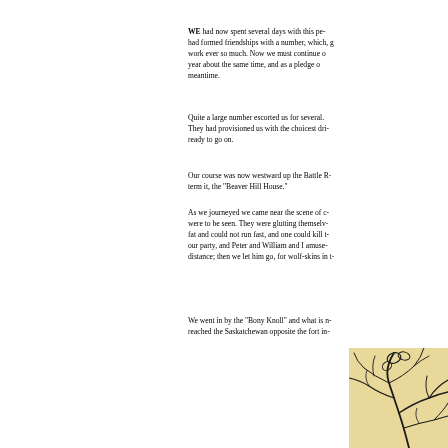WE had now spent several days with this pe- had formed friendships with a number, which, g work ever so much. Now we must continue o year about the same time, and as a pledge o meantime.
Quite a large number escorted us for several. They had provisioned us with the choicest dri ready to go on.
Our course was now westward up the Battle R term it, the "Beaver Hill House."
As we journeyed we came near the scene of c were to be seen. They were glutting themselv fat and could not run fast, and one could kill t our party, and Peter and William and I amuse distance; then we let him go, for wolf-skins in t
We went in by the "Bony Knoll" and what is n reached the Saskatchewan opposite the fort in
[Figure (illustration): Partial illustration of botanical/floral design with dark ink lines on aged yellow-tan background, visible in bottom right corner of page.]